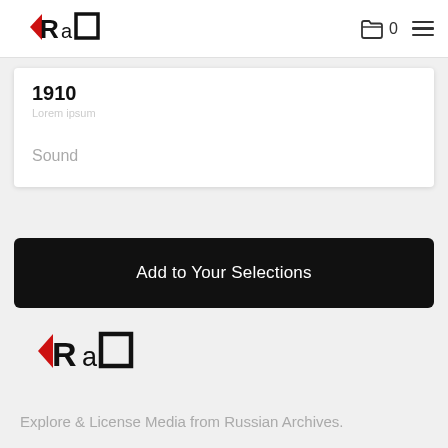RAO logo header with folder icon showing 0 and hamburger menu
1910
Sound
Add to Your Selections
[Figure (logo): RAO logo - red arrow pointing left with bold black letters R a O]
Explore & License Media from Russian Archives.